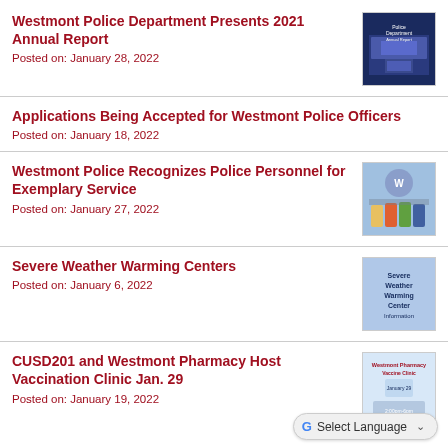Westmont Police Department Presents 2021 Annual Report
Posted on: January 28, 2022
[Figure (photo): Police Department Annual Report book cover with building photo]
Applications Being Accepted for Westmont Police Officers
Posted on: January 18, 2022
Westmont Police Recognizes Police Personnel for Exemplary Service
Posted on: January 27, 2022
[Figure (photo): Group photo of police personnel in front of Westmont Police Department logo]
Severe Weather Warming Centers
Posted on: January 6, 2022
[Figure (infographic): Severe Weather Warming Center Information flyer with blue background]
CUSD201 and Westmont Pharmacy Host Vaccination Clinic Jan. 29
Posted on: January 19, 2022
[Figure (photo): Westmont Pharmacy Vaccine Clinic January 29 flyer]
Select Language